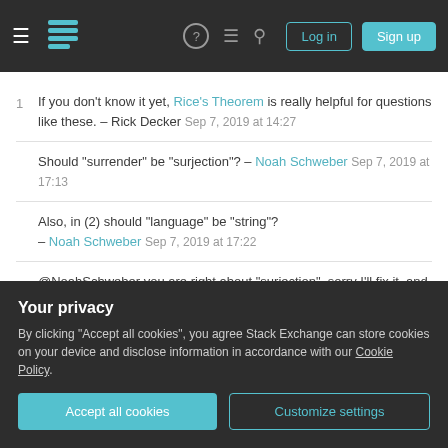[Figure (screenshot): Stack Exchange navigation bar with hamburger menu, logo, help icon, chat icon, search icon, Log in and Sign up buttons]
1  If you don't know it yet, Rice's Theorem is really helpful for questions like these. – Rick Decker Sep 7, 2019 at 14:27
Should "surrender" be "surjection"? – Noah Schweber Sep 7, 2019 at 17:13
Also, in (2) should "language" be "string"? – Noah Schweber Sep 7, 2019 at 17:22
@NoahSchweber you are right about "surjection", sorry I'll fix it, and in (2) should be said that power of language is less than 2019 (there are no more than 2019...
Your privacy
By clicking "Accept all cookies", you agree Stack Exchange can store cookies on your device and disclose information in accordance with our Cookie Policy.
[Accept all cookies] [Customize settings]